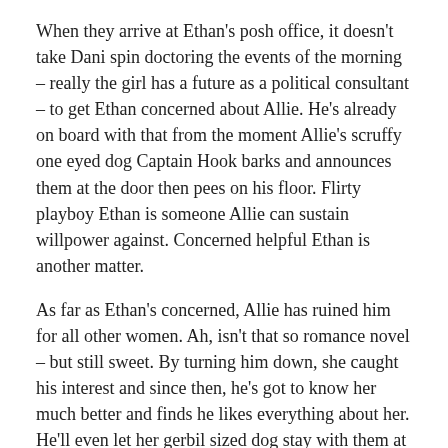When they arrive at Ethan's posh office, it doesn't take Dani spin doctoring the events of the morning – really the girl has a future as a political consultant – to get Ethan concerned about Allie. He's already on board with that from the moment Allie's scruffy one eyed dog Captain Hook barks and announces them at the door then pees on his floor. Flirty playboy Ethan is someone Allie can sustain willpower against. Concerned helpful Ethan is another matter.
As far as Ethan's concerned, Allie has ruined him for all other women. Ah, isn't that so romance novel – but still sweet. By turning him down, she caught his interest and since then, he's got to know her much better and finds he likes everything about her. He'll even let her gerbil sized dog stay with them at his luxury condo. What he doesn't tell her is that they're alike in many ways – neither wanting to or asking for help or being caught up in material things. Ethan knows Allie's desire to want to make it on her own because he shares it having broken away from his wealthy